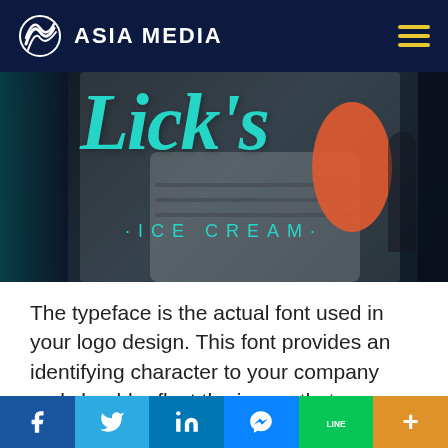ASIA MEDIA
[Figure (photo): Lick's Ice Cream storefront signage with teal/turquoise script lettering saying 'Lick's' and '·ICE CREAM·' below, dark background with orange oval shape and blurred figures in background]
The typeface is the actual font used in your logo design. This font provides an identifying character to your company and should reflect the image that you are trying to portray. Often, a professional designer will choose a font commonly